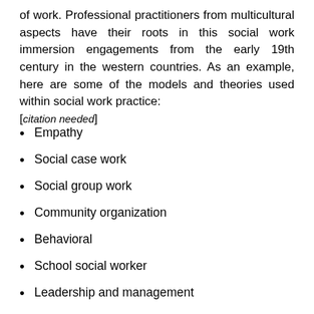of work. Professional practitioners from multicultural aspects have their roots in this social work immersion engagements from the early 19th century in the western countries. As an example, here are some of the models and theories used within social work practice: [citation needed]
Empathy
Social case work
Social group work
Community organization
Behavioral
School social worker
Leadership and management
Crisis intervention
Mental health
Cognitive-behavioral
Critical